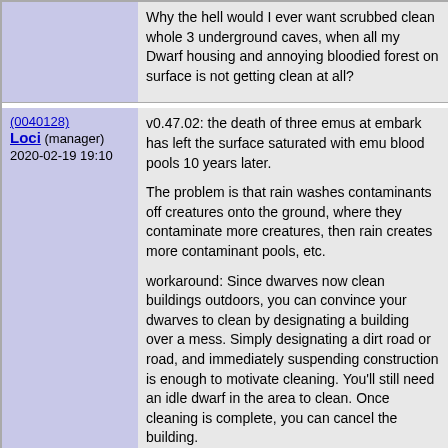| User Info | Comment |
| --- | --- |
|  | Why the hell would I ever want scrubbed clean whole 3 underground caves, when all my Dwarf housing and annoying bloodied forest on surface is not getting clean at all? |
| (0040128)
Loci (manager)
2020-02-19 19:10 | v0.47.02: the death of three emus at embark has left the surface saturated with emu blood pools 10 years later.

The problem is that rain washes contaminants off creatures onto the ground, where they contaminate more creatures, then rain creates more contaminant pools, etc.

workaround: Since dwarves now clean buildings outdoors, you can convince your dwarves to clean by designating a building over a mess. Simply designating a dirt road or road, and immediately suspending construction is enough to motivate cleaning. You'll still need an idle dwarf in the area to clean. Once cleaning is complete, you can cancel the building. |
⊟ Issue History
| Date Modified | Username | Field | Change |
| --- | --- | --- | --- |
| 2010-04-03 12:40 | Kwahn | New Issue |  |
| 2010-04-03 12:44 | Footkerchief | Note Added: 0000622 |  |